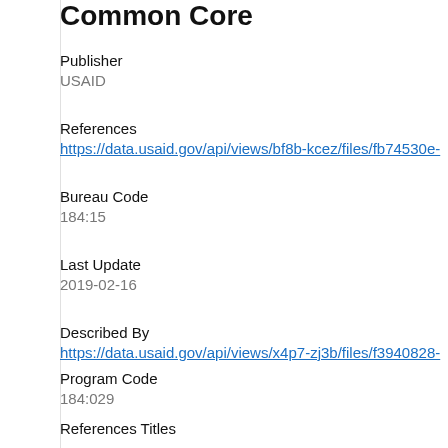Common Core
Publisher
USAID
References
https://data.usaid.gov/api/views/bf8b-kcez/files/fb74530e-
Bureau Code
184:15
Last Update
2019-02-16
Described By
https://data.usaid.gov/api/views/x4p7-zj3b/files/f3940828-
Program Code
184:029
References Titles
Sampling_strategy_farmer_survey__1_.pdf, household_farmer_